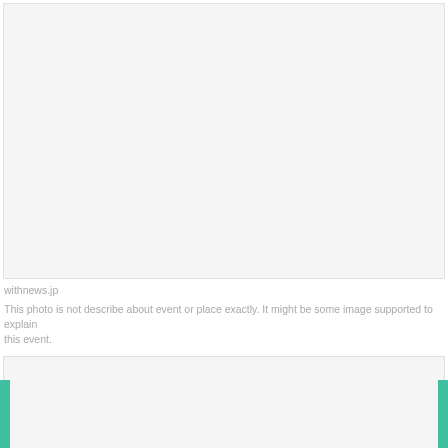[Figure (photo): Large light gray placeholder image box at top of page]
withnews.jp
This photo is not describe about event or place exactly. It might be some image supported to explain this event.
[Figure (photo): Light gray placeholder image box at bottom of page with teal accent bars on left and right edges]